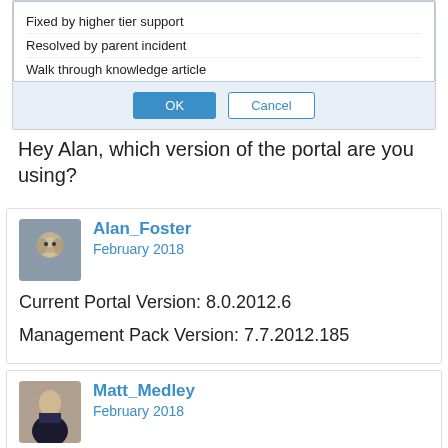[Figure (screenshot): Dialog box screenshot showing options: Fixed by higher tier support, Resolved by parent incident, Walk through knowledge article, with OK and Cancel buttons]
Hey Alan, which version of the portal are you using?
Alan_Foster
February 2018
Current Portal Version: 8.0.2012.6
Management Pack Version: 7.7.2012.185
Matt_Medley
February 2018
Alan_Foster said:
Current Portal Version: 8.0.2012.6
Management Pack Version: 7.7.2012.185